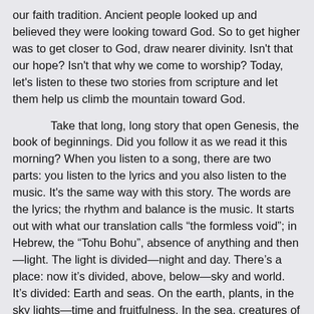our faith tradition. Ancient people looked up and believed they were looking toward God. So to get higher was to get closer to God, draw nearer divinity. Isn't that our hope? Isn't that why we come to worship? Today, let's listen to these two stories from scripture and let them help us climb the mountain toward God.
Take that long, long story that open Genesis, the book of beginnings. Did you follow it as we read it this morning? When you listen to a song, there are two parts: you listen to the lyrics and you also listen to the music. It's the same way with this story. The words are the lyrics; the rhythm and balance is the music. It starts out with what our translation calls “the formless void”; in Hebrew, the “Tohu Bohu”, absence of anything and then—light. The light is divided—night and day. There’s a place: now it’s divided, above, below—sky and world. It’s divided: Earth and seas. On the earth, plants, in the sky lights—time and fruitfulness. In the sea, creatures of every kind, in the air, birds of every kind. On the land, animals and cattle, which is to say animals that live mutually with humanity. Finally: us—humankind, gendered and made in the image of God. What we hear if we listen more to the music than the lyrics is an amazing, ultimate